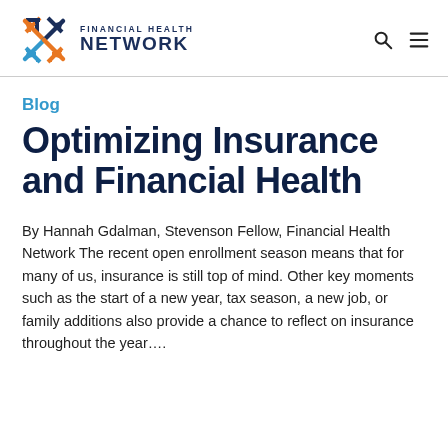FINANCIAL HEALTH NETWORK
Blog
Optimizing Insurance and Financial Health
By Hannah Gdalman, Stevenson Fellow, Financial Health Network The recent open enrollment season means that for many of us, insurance is still top of mind. Other key moments such as the start of a new year, tax season, a new job, or family additions also provide a chance to reflect on insurance throughout the year….